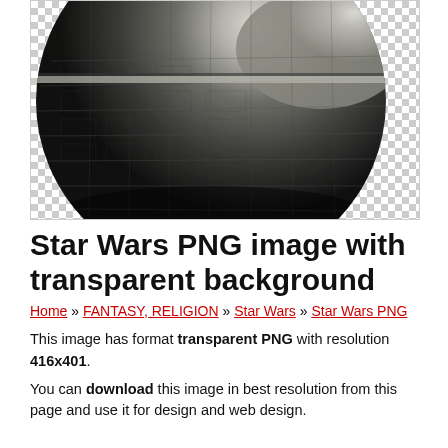[Figure (photo): A Star Wars Death Star image shown on a checkered transparent background, cropped showing the lower portion of the spherical space station with dark grey and black panels.]
Star Wars PNG image with transparent background
Home » FANTASY, RELIGION » Star Wars » Star Wars PNG
This image has format transparent PNG with resolution 416x401.
You can download this image in best resolution from this page and use it for design and web design.